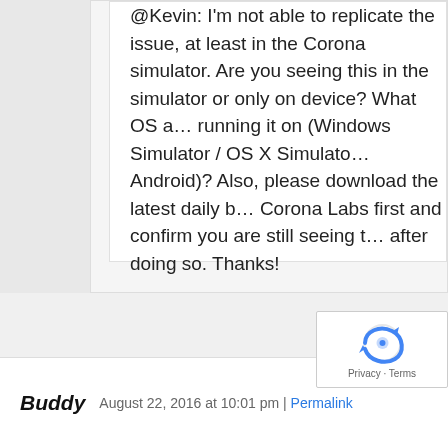@Kevin: I'm not able to replicate the issue, at least in the Corona simulator. Are you seeing this in the simulator or only on device? What OS are you running it on (Windows Simulator / OS X Simulator / Android)? Also, please download the latest daily build from Corona Labs first and confirm you are still seeing the issue after doing so. Thanks!
Buddy  August 22, 2016 at 10:01 pm | Permalink